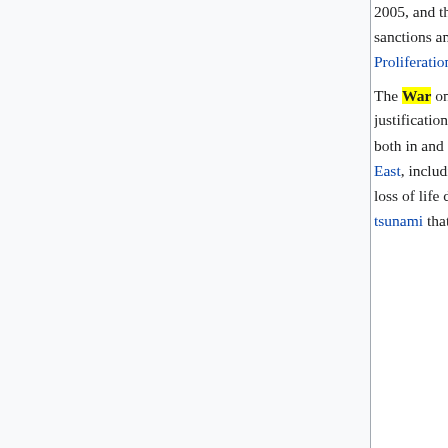2005, and the Mumbai attacks related to al-Qaeda in 2008. The European Union expanded its sanctions amid Iran's failure to comply with its transparency obligations under the Nuclear Non-Proliferation Treaty and United Nations resolutions.

The War on Terror generated extreme controversy around the world, with questions regarding the justification for certain U.S. actions leading to a loss of support for the American government, both in and outside the United States.[19] The additional armed conflict occurred in the Middle East, including between Israel and Hezbollah, then with Israel and Hamas. The most significant loss of life due to natural disasters came from the 2004 Indian Ocean earthquake, which caused a tsunami that killed around one